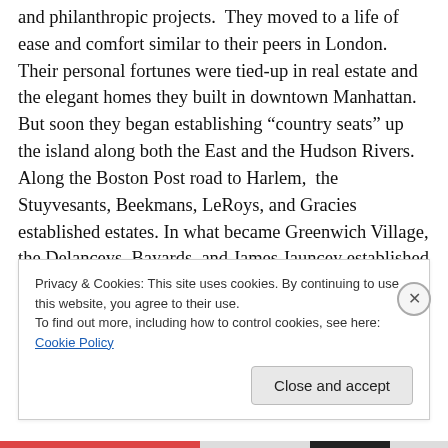and philanthropic projects.  They moved to a life of ease and comfort similar to their peers in London.  Their personal fortunes were tied-up in real estate and the elegant homes they built in downtown Manhattan. But soon they began establishing “country seats” up the island along both the East and the Hudson Rivers. Along the Boston Post road to Harlem,  the Stuyvesants, Beekmans, LeRoys, and Gracies established estates. In what became Greenwich Village, the Delanceys, Bayards, and James Jauncey established themselves. South of Vandewater Heights—in Bloomingdale—the Apthorp, Striker, Delancey
Privacy & Cookies: This site uses cookies. By continuing to use this website, you agree to their use.
To find out more, including how to control cookies, see here: Cookie Policy